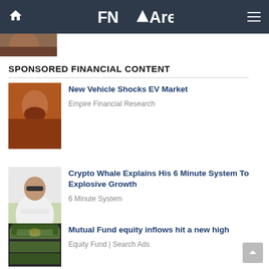FNArena
SPONSORED FINANCIAL CONTENT
[Figure (photo): Man with beard and dark clothing against orange background]
New Vehicle Shocks EV Market
Empire Financial Research
[Figure (photo): Man in white shirt with sunglasses standing outdoors]
Crypto Whale Explains His 6 Minute System To Explosive Growth
6 Minute System
[Figure (photo): Stack of US dollar bills close-up]
Mutual Fund equity inflows hit a new high
Equity Fund | Search Ads